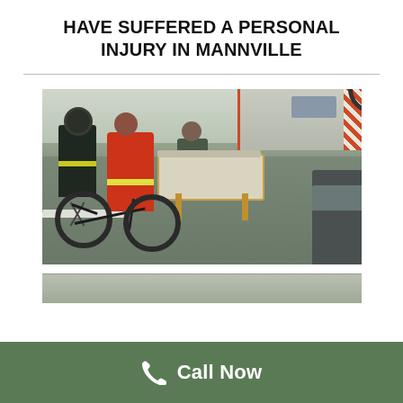HAVE SUFFERED A PERSONAL INJURY IN MANNVILLE
[Figure (photo): Emergency responders and paramedics attending to an injured person on the road next to a fallen bicycle, with an ambulance visible in the background.]
[Figure (photo): Partially visible second accident scene photo at the bottom of the page.]
Call Now